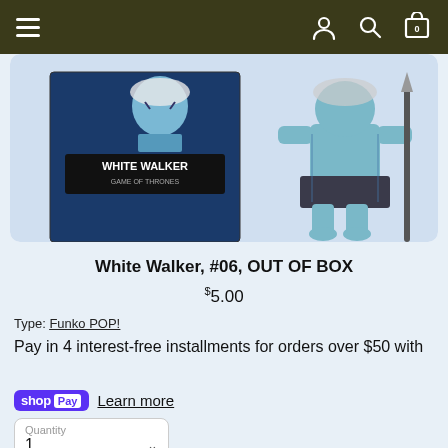Navigation bar with hamburger menu, user icon, search icon, cart icon (0 items)
[Figure (photo): White Walker Funko POP figure #06, shown out of box beside its packaging. The figure is blue-toned with a spear, wearing dark armor. The box shows 'WHITE WALKER' label.]
White Walker, #06, OUT OF BOX
$5.00
Type: Funko POP!
Pay in 4 interest-free installments for orders over $50 with
shop Pay  Learn more
Quantity 1